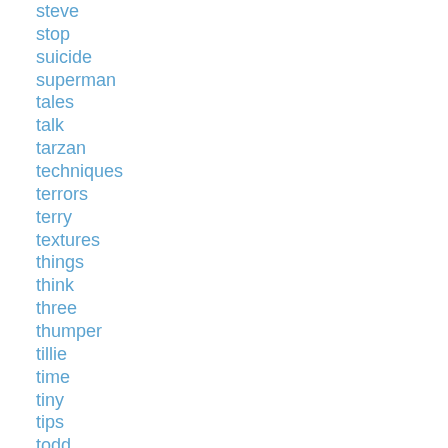steve
stop
suicide
superman
tales
talk
tarzan
techniques
terrors
terry
textures
things
think
three
thumper
tillie
time
tiny
tips
todd
tonto-
totally